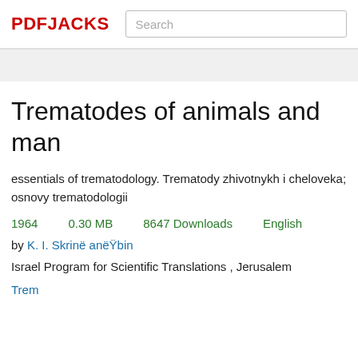PDFJACKS  Search
Trematodes of animals and man
essentials of trematodology. Trematody zhivotnykh i cheloveka; osnovy trematodologii
1964   0.30 MB   8647 Downloads   English
by K. I. Skrinë anëŸbin
Israel Program for Scientific Translations , Jerusalem
Trem